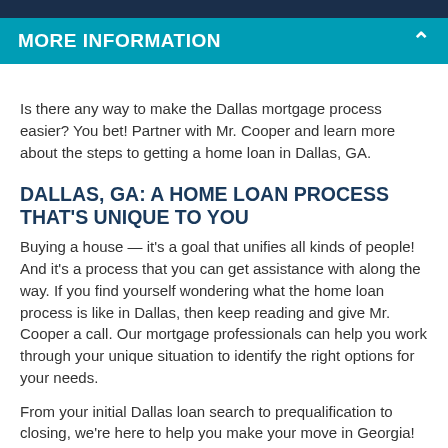MORE INFORMATION
Is there any way to make the Dallas mortgage process easier? You bet! Partner with Mr. Cooper and learn more about the steps to getting a home loan in Dallas, GA.
DALLAS, GA: A HOME LOAN PROCESS THAT'S UNIQUE TO YOU
Buying a house — it's a goal that unifies all kinds of people! And it's a process that you can get assistance with along the way. If you find yourself wondering what the home loan process is like in Dallas, then keep reading and give Mr. Cooper a call. Our mortgage professionals can help you work through your unique situation to identify the right options for your needs.
From your initial Dallas loan search to prequalification to closing, we're here to help you make your move in Georgia! can even help out when you kick off the search for a home. They can connect